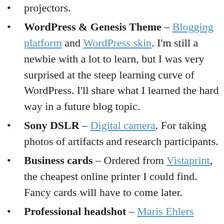projectors.
WordPress & Genesis Theme – Blogging platform and WordPress skin. I'm still a newbie with a lot to learn, but I was very surprised at the steep learning curve of WordPress. I'll share what I learned the hard way in a future blog topic.
Sony DSLR – Digital camera. For taking photos of artifacts and research participants.
Business cards – Ordered from Vistaprint, the cheapest online printer I could find. Fancy cards will have to come later.
Professional headshot – Maris Ehlers Photography. I wish I had known Maris when I had gotten married so she could have photographed my wedding portraits also.